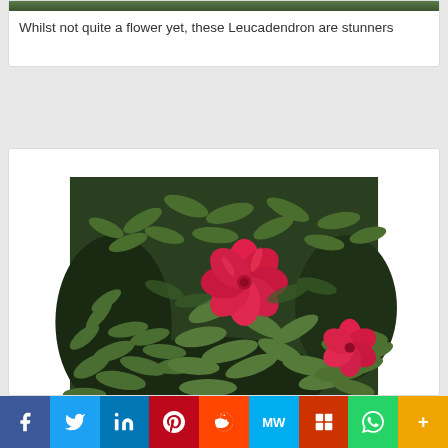[Figure (photo): Partial top of a botanical photo card showing dark green foliage background, cut off at top]
Whilst not quite a flower yet, these Leucadendron are stunners
[Figure (photo): Close-up photograph of bright pink/red flowers (geraniums or pelargoniums) surrounded by lush green feathery foliage. A second pink flower visible in the bottom right corner.]
f  Twitter  in  P  reddit  MW  Mix  WhatsApp  More